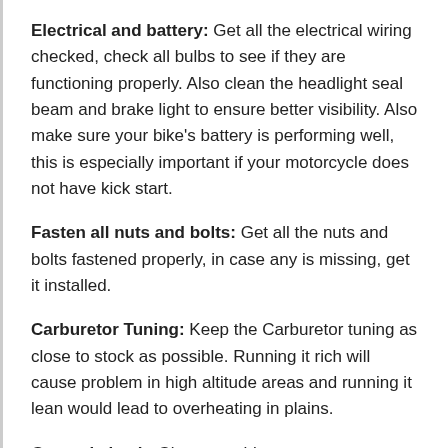Electrical and battery: Get all the electrical wiring checked, check all bulbs to see if they are functioning properly. Also clean the headlight seal beam and brake light to ensure better visibility. Also make sure your bike's battery is performing well, this is especially important if your motorcycle does not have kick start.
Fasten all nuts and bolts: Get all the nuts and bolts fastened properly, in case any is missing, get it installed.
Carburetor Tuning: Keep the Carburetor tuning as close to stock as possible. Running it rich will cause problem in high altitude areas and running it lean would lead to overheating in plains.
General check: Give everything a once over, ensure that everything is working properly and all the fluids are topped up, i.e. battery water, engine oil etc. Ensure all fuel lines are intact and there is no leakage anywhere.